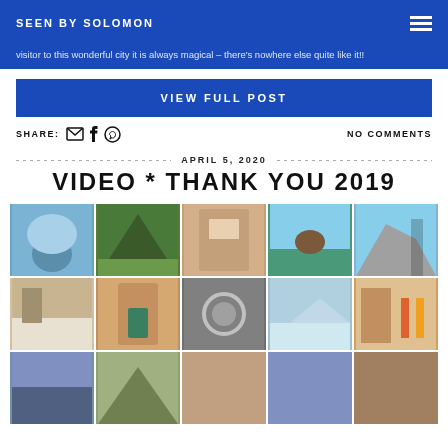SEEN BY SOLOMON
visitor to this wonderful city it is always magical – there's nowhere else quite like it!!
VIEW FULL POST
SHARE:  NO COMMENTS
APRIL 5, 2020
VIDEO * THANK YOU 2019
[Figure (photo): A grid of 15 travel photos showing various destinations including mountains, architecture, landscapes, and people traveling]